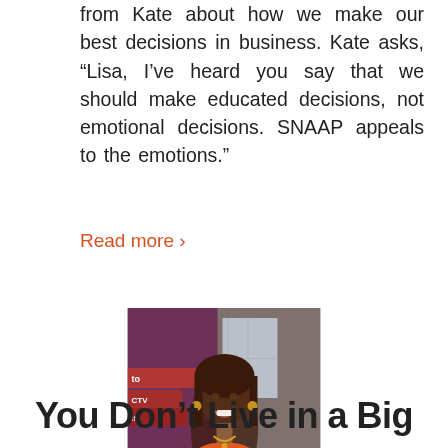from Kate about how we make our best decisions in business. Kate asks, “Lisa, I’ve heard you say that we should make educated decisions, not emotional decisions. SNAAP appeals to the emotions.”
Read more ›
[Figure (photo): Portrait photo of a smiling woman with long hair, wearing a colorful patterned top, photographed indoors.]
You Don’t Live in a Big